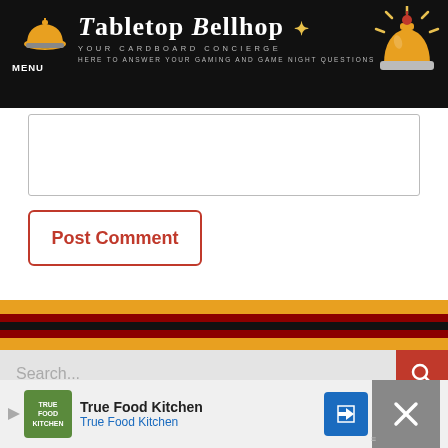Tabletop Bellhop — Your Cardboard Concierge — Here to Answer Your Gaming and Game Night Questions
[Figure (screenshot): Comment text input box (empty)]
Post Comment
[Figure (infographic): Colored stripe divider: orange, dark red, black, dark red, orange bands]
Search...
[Figure (screenshot): Bottom black section with partial white rounded logo card and bell icon graphic]
[Figure (screenshot): Advertisement banner: True Food Kitchen with navigation arrow icon and close button]